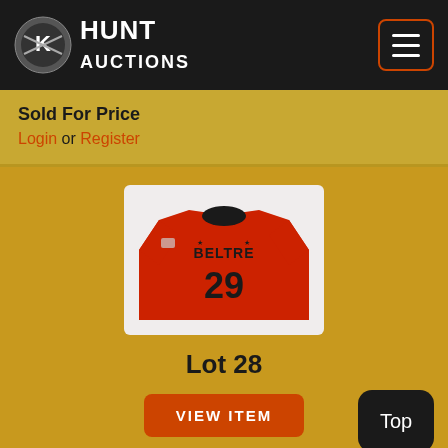Hunt Auctions
Sold For Price
Login or Register
[Figure (photo): Back of a red baseball jersey with name BELTRE and number 29, displayed on a white background]
Lot 28
VIEW ITEM
Est. Price Range